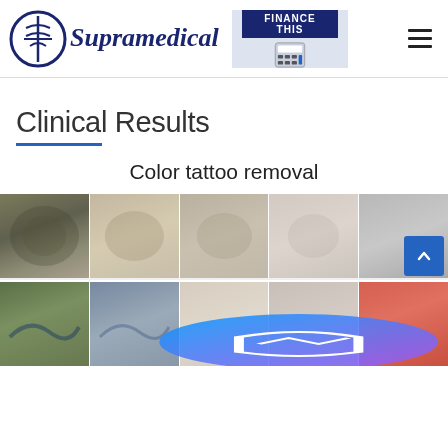[Figure (logo): Supramedical logo with caduceus-style icon and text 'Supramedical' in dark navy blue, plus 'FINANCE THIS' banner and hamburger menu]
Clinical Results
Color tattoo removal
[Figure (photo): Row of 5 before/during/after photos showing color tattoo removal progression — tattoo fading from colorful design to nearly bare skin]
[Figure (photo): Row of 5 before/during/after photos showing color tattoo removal on lower body — blue-green wave tattoo progressively fading]